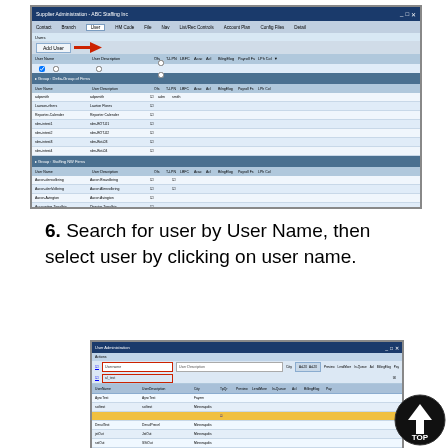[Figure (screenshot): Screenshot of Supplier Administration - ABC Staffing Inc application showing a list of users in groups (Delta-Group of Firms and Staffing NW Firms) with user names, descriptions, and permission checkboxes. An orange arrow points to an 'Add User' button at the top.]
6. Search for user by User Name, then select user by clicking on user name.
[Figure (screenshot): Screenshot of User Administration dialog showing a search field with 'Username' highlighted in red border. A user row is selected (highlighted in yellow/orange). Below shows user detail fields: User Model (Consultant), Description (Consultant), Active checkbox, and User Permissions section.]